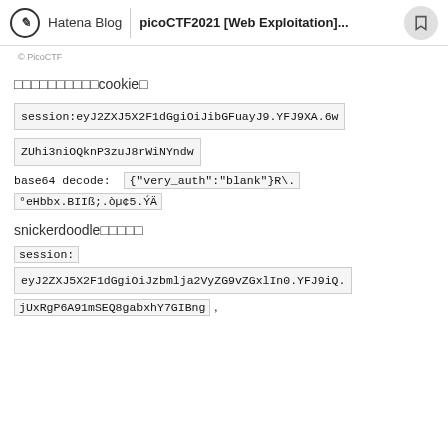Hatena Blog | picoCTF2021 [Web Exploitation]...
© PicoCTF
□□□□□□□□□□cookie□
session:eyJ2ZXJ5X2F1dGgiOiJibGFuayJ9.YFJ9XA.6wZUhi3niOQknP3zuJ8rWiNYndw
base64 decode: {"very_auth":"blank"}R\.
°eHbbx.BIIß;.òµ¢5.ÝÄ
snickerdoodle□□□□□
session:
eyJ2ZXJ5X2F1dGgiOiJzbmlja2VyZG9vZGxlIn0.YFJ9iQ.jUxRgP6A91mSEQ8gabxhY7GIBng ,